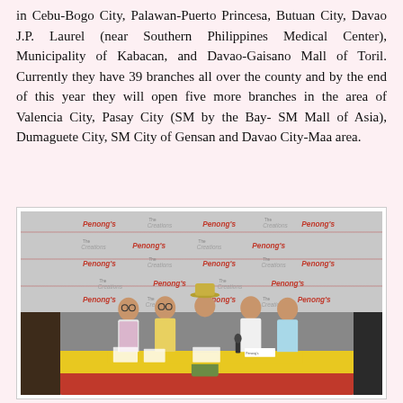in Cebu-Bogo City, Palawan-Puerto Princesa, Butuan City, Davao J.P. Laurel (near Southern Philippines Medical Center), Municipality of Kabacan, and Davao-Gaisano Mall of Toril. Currently they have 39 branches all over the county and by the end of this year they will open five more branches in the area of Valencia City, Pasay City (SM by the Bay- SM Mall of Asia), Dumaguete City, SM City of Gensan and Davao City-Maa area.
[Figure (photo): Five people seated at a table with a yellow tablecloth and red skirt, in front of a Penong's restaurant branded backdrop. They appear to be at a signing event. Three women and two men are visible.]